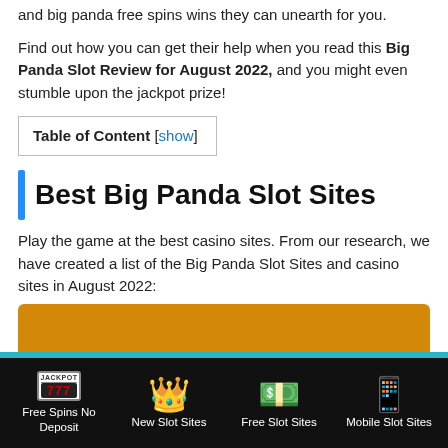and big panda free spins wins they can unearth for you.
Find out how you can get their help when you read this Big Panda Slot Review for August 2022, and you might even stumble upon the jackpot prize!
Table of Content [show]
Best Big Panda Slot Sites
Play the game at the best casino sites. From our research, we have created a list of the Big Panda Slot Sites and casino sites in August 2022:
[Figure (other): Orange banner/button with teal bar below]
Free Spins No Deposit | New Slot Sites | Free Slot Sites | Mobile Slot Sites